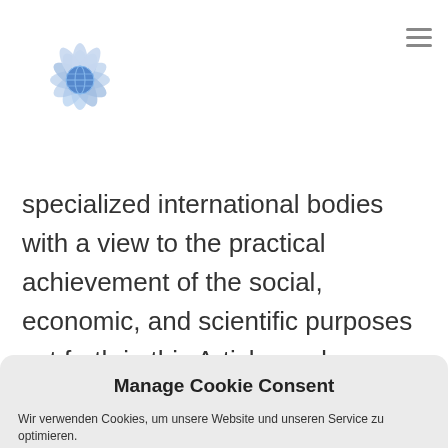[Figure (logo): Blue lotus flower logo with a globe in the center]
specialized international bodies with a view to the practical achievement of the social, economic, and scientific purposes set forth in this Article: and
Manage Cookie Consent
Wir verwenden Cookies, um unsere Website und unseren Service zu optimieren.
Cookies akzeptieren
Deny
Einstellungen anzeigen